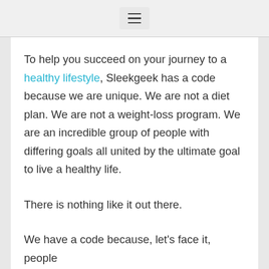☰
To help you succeed on your journey to a healthy lifestyle, Sleekgeek has a code because we are unique. We are not a diet plan. We are not a weight-loss program. We are an incredible group of people with differing goals all united by the ultimate goal to live a healthy life.

There is nothing like it out there.

We have a code because, let's face it, people